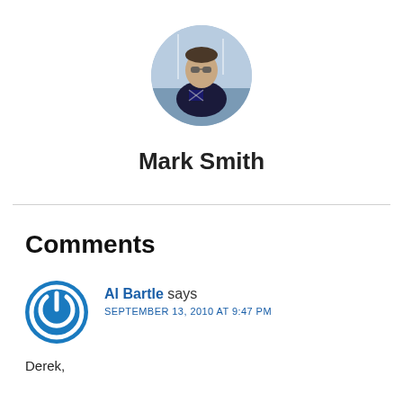[Figure (photo): Circular profile photo of a man wearing sunglasses and a dark jacket with a British flag design, standing near boats in a marina.]
Mark Smith
Comments
[Figure (logo): Circular blue icon with a power/on-off symbol, representing the commenter Al Bartle's avatar.]
Al Bartle says SEPTEMBER 13, 2010 AT 9:47 PM
Derek,